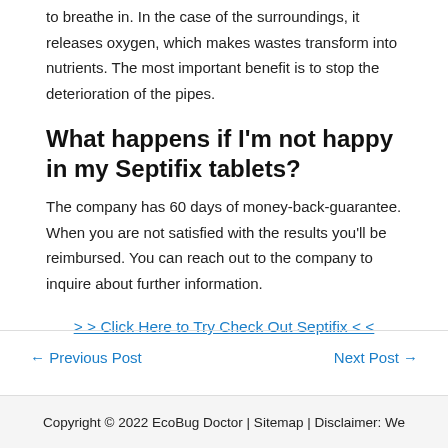to breathe in. In the case of the surroundings, it releases oxygen, which makes wastes transform into nutrients. The most important benefit is to stop the deterioration of the pipes.
What happens if I'm not happy in my Septifix tablets?
The company has 60 days of money-back-guarantee. When you are not satisfied with the results you'll be reimbursed. You can reach out to the company to inquire about further information.
>> Click Here to Try Check Out Septifix <<
← Previous Post
Next Post →
Copyright © 2022 EcoBug Doctor | Sitemap | Disclaimer: We